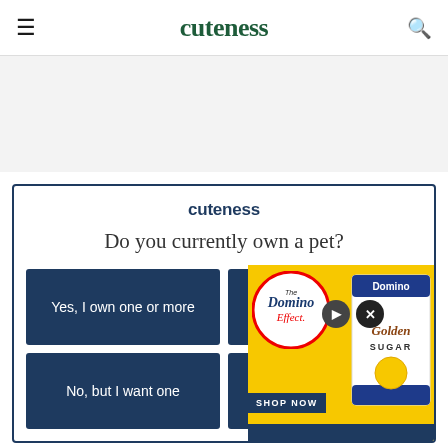cuteness
[Figure (other): Gray advertisement banner placeholder area]
[Figure (infographic): Cuteness poll widget asking 'Do you currently own a pet?' with four answer buttons: 'Yes, I own one or more', 'Yes...', 'No, but I want one', 'No, I don't...' Overlaid by a Domino Sugar advertisement showing the Domino Effect badge and Golden Sugar bag with SHOP NOW button and SWIPE LEFT TO EXPAND bar.]